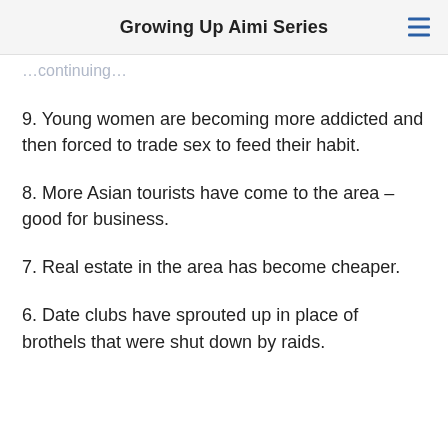Growing Up Aimi Series
…
9. Young women are becoming more addicted and then forced to trade sex to feed their habit.
8. More Asian tourists have come to the area – good for business.
7. Real estate in the area has become cheaper.
6. Date clubs have sprouted up in place of brothels that were shut down by raids.